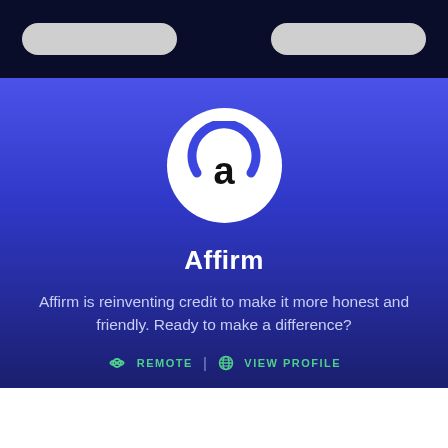[Figure (logo): Affirm company logo - white circle with blue letter 'a' and blue arc above it]
Affirm
Affirm is reinventing credit to make it more honest and friendly. Ready to make a difference?
REMOTE | VIEW PROFILE